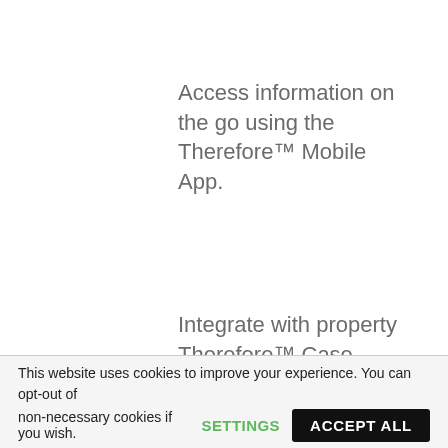Access information on the go using the Therefore™ Mobile App.
Therefore™ Case Management can group all documentation related to a single property together to enable efficient management and processing.
Integrate with property
This website uses cookies to improve your experience. You can opt-out of non-necessary cookies if you wish.
SETTINGS
ACCEPT ALL